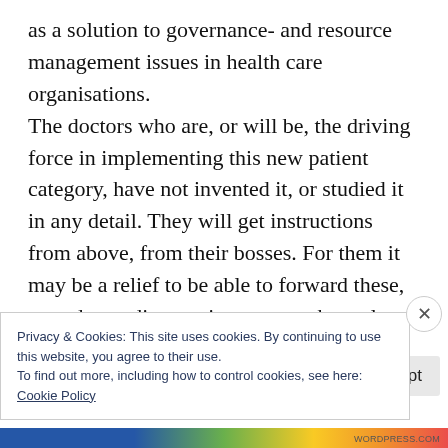as a solution to governance- and resource management issues in health care organisations. The doctors who are, or will be, the driving force in implementing this new patient category, have not invented it, or studied it in any detail. They will get instructions from above, from their bosses. For them it may be a relief to be able to forward these, very demanding, patients somewhere else, but are they responsible? If "instructions to diagnose
Privacy & Cookies: This site uses cookies. By continuing to use this website, you agree to their use.
To find out more, including how to control cookies, see here:
Cookie Policy
Close and accept